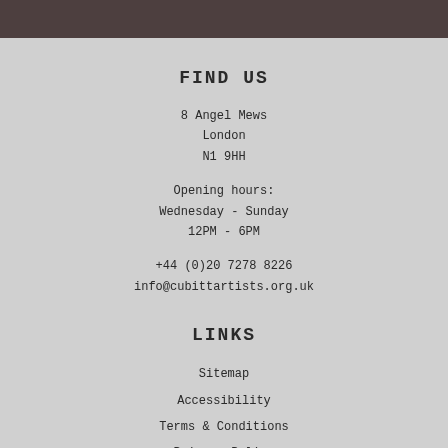FIND US
8 Angel Mews
London
N1 9HH
Opening hours:
Wednesday - Sunday
12PM - 6PM
+44 (0)20 7278 8226
info@cubittartists.org.uk
LINKS
Sitemap
Accessibility
Terms & Conditions
Privacy Policy